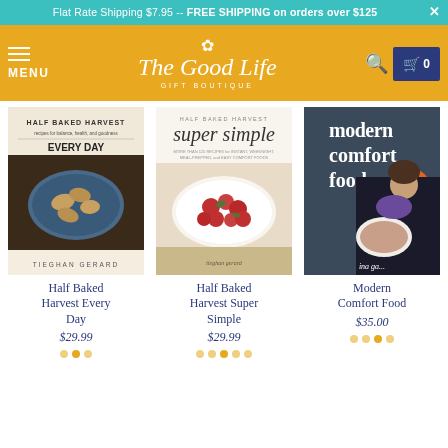Flat Rate Shipping $7.95 -- FREE SHIPPING on orders over $125
[Figure (logo): The Good Life Gift Boutique logo with floral icon on golden/amber navigation bar with hamburger menu, search icon, and cart showing 0]
[Figure (photo): Half Baked Harvest Every Day cookbook cover by Tieghan Gerard showing a blue bowl with mushroom dumplings]
Half Baked Harvest Every Day
$29.99
[Figure (photo): Half Baked Harvest Super Simple cookbook cover by Tieghan Gerard showing a platter of roasted tomatoes]
Half Baked Harvest Super Simple
$29.99
[Figure (photo): Modern Comfort Food cookbook cover by Ina Garten showing author holding a bowl of soup]
Modern Comfort Food
$35.00